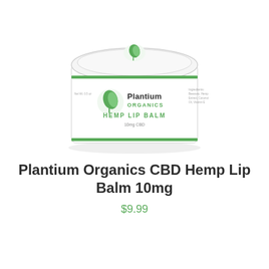[Figure (photo): A round white cosmetic jar with a green and white label reading 'Plantium ORGANICS Hemp Lip Balm 10mg CBD', with a green leaf logo on the label and on the lid. The jar has a green stripe near the base and sits on a white surface with a subtle reflection.]
Plantium Organics CBD Hemp Lip Balm 10mg
$9.99